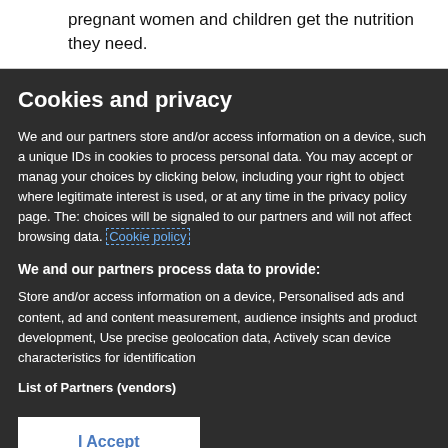pregnant women and children get the nutrition they need.
Cookies and privacy
We and our partners store and/or access information on a device, such as unique IDs in cookies to process personal data. You may accept or manage your choices by clicking below, including your right to object where legitimate interest is used, or at any time in the privacy policy page. These choices will be signaled to our partners and will not affect browsing data. Cookie policy
We and our partners process data to provide:
Store and/or access information on a device, Personalised ads and content, ad and content measurement, audience insights and product development, Use precise geolocation data, Actively scan device characteristics for identification
List of Partners (vendors)
I Accept